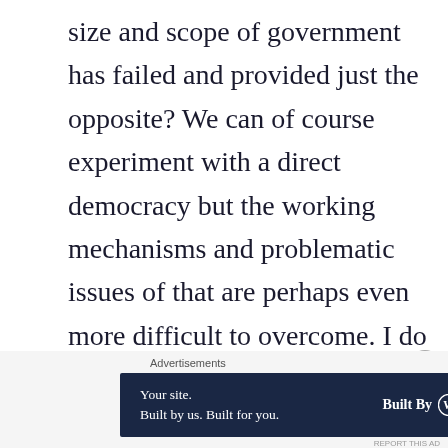size and scope of government has failed and provided just the opposite? We can of course experiment with a direct democracy but the working mechanisms and problematic issues of that are perhaps even more difficult to overcome. I do not want my neighbor to be able to vote against my liberties any more than I do of elected
Advertisements
[Figure (other): Advertisement banner with dark navy background. Left side reads 'Your site. Built by us. Built for you.' Right side shows 'Built By' with WordPress logo.]